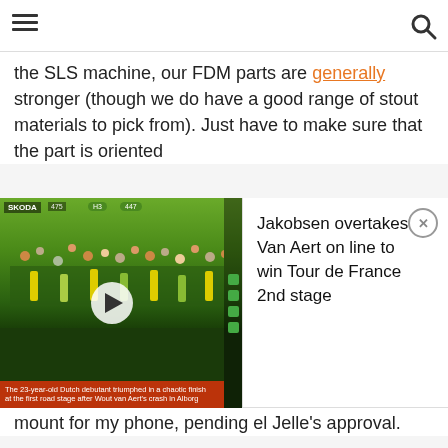the SLS machine, our FDM parts are generally stronger (though we do have a good range of stout materials to pick from). Just have to make sure that the part is oriented
[Figure (screenshot): Video thumbnail showing cycling race crowd scene with play button overlay, and news popup: 'Jakobsen overtakes Van Aert on line to win Tour de France 2nd stage' with close button]
mount for my phone, pending el Jelle's approval.
Reply button
#6
[Figure (illustration): Fallout-style cartoon character avatar for user WheresWaldo]
WheresWaldo , 01-07-15 12:22 AM
Ride it like you stole it
Yeah, I am surprised there isn't more people doing some of this stuff with 3D printers. There are just some things that lend themselves to this process, specifically purpose built